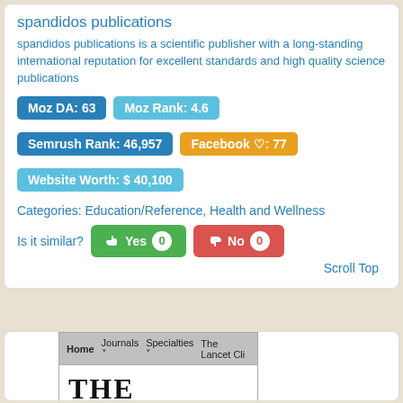spandidos publications
spandidos publications is a scientific publisher with a long-standing international reputation for excellent standards and high quality science publications
Moz DA: 63
Moz Rank: 4.6
Semrush Rank: 46,957
Facebook ♡: 77
Website Worth: $ 40,100
Categories: Education/Reference, Health and Wellness
Is it similar? Yes 0 No 0
Scroll Top
[Figure (screenshot): Screenshot of The Lancet website showing navigation bar with Home, Journals, Specialties, The Lancet Cli... links, THE LANCET logo in serif font, blue bar, and All Content search area.]